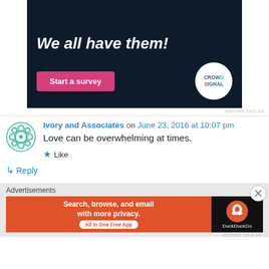[Figure (screenshot): Top advertisement banner with dark navy background showing 'We all have them!' text, a pink 'Start a survey' button, and CrowdSignal logo circle]
REPORT THIS AD
Ivory and Associates on June 23, 2016 at 10:07 pm
Love can be overwhelming at times.
★ Like
↳ Reply
Advertisements
[Figure (screenshot): DuckDuckGo advertisement banner: orange left section reading 'Search, browse, and email with more privacy. All in One Free App' and dark right section with DuckDuckGo logo]
REPORT THIS AD